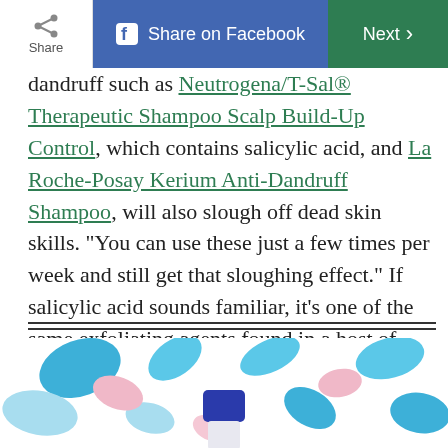Share | Share on Facebook | Next >
dandruff such as Neutrogena/T-Sal® Therapeutic Shampoo Scalp Build-Up Control, which contains salicylic acid, and La Roche-Posay Kerium Anti-Dandruff Shampoo, will also slough off dead skin skills. "You can use these just a few times per week and still get that sloughing effect." If salicylic acid sounds familiar, it's one of the same exfoliating agents found in a host of skincare products.
[Figure (photo): Product photo of a skincare/haircare bottle with a blue cap, set against a colorful terrazzo-patterned background with blue, pink, and light blue shapes on white]